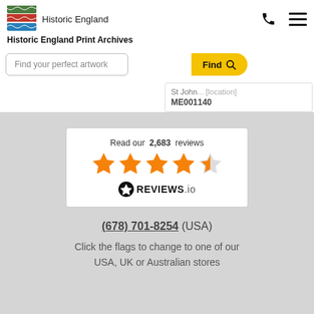[Figure (logo): Historic England logo with green, red, and blue wavy stripes and text 'Historic England']
Historic England Print Archives
[Figure (screenshot): Search bar with placeholder 'Find your perfect artwork' and a yellow 'Find' button with magnifier icon. Partial dropdown showing 'St John...' and code 'ME001140']
[Figure (infographic): Reviews.io widget: 'Read our 2,683 reviews' with 4.5 orange stars and Reviews.io logo]
(678) 701-8254 (USA)
Click the flags to change to one of our USA, UK or Australian stores